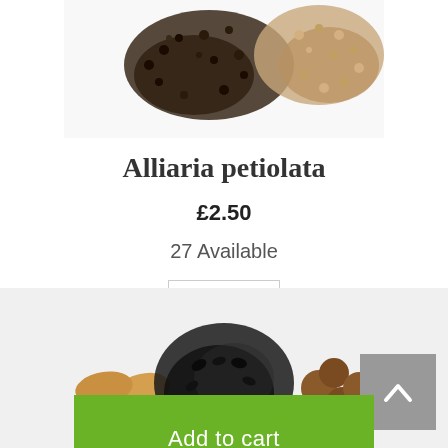[Figure (photo): Overhead photo of mixed seeds and spices — dark black/brown seeds and light tan/beige seeds scattered on white background]
Alliaria petiolata
£2.50
27 Available
1
Add to cart
[Figure (photo): Overhead photo of mixed nuts and dark seeds — almonds, sunflower seeds, and small brown nuts scattered on white background]